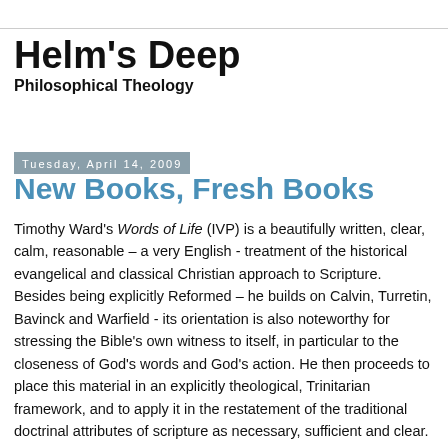Helm's Deep
Philosophical Theology
Tuesday, April 14, 2009
New Books, Fresh Books
Timothy Ward's Words of Life (IVP) is a beautifully written, clear, calm, reasonable – a very English - treatment of the historical evangelical and classical Christian approach to Scripture. Besides being explicitly Reformed – he builds on Calvin, Turretin, Bavinck and Warfield - its orientation is also noteworthy for stressing the Bible's own witness to itself, in particular to the closeness of God's words and God's action. He then proceeds to place this material in an explicitly theological, Trinitarian framework, and to apply it in the restatement of the traditional doctrinal attributes of scripture as necessary, sufficient and clear. Finally, the doctrinal formulation is brought to bear onto the life and witness of the